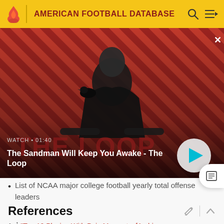AMERICAN FOOTBALL DATABASE
[Figure (screenshot): Video thumbnail showing a dark figure with a crow on a striped red/dark background. Text overlay: WATCH • 01:40 | The Sandman Will Keep You Awake - The Loop]
List of NCAA major college football yearly total offense leaders
References
1. ↑ "Top 10 Playing With Pain Moments. [Archive -